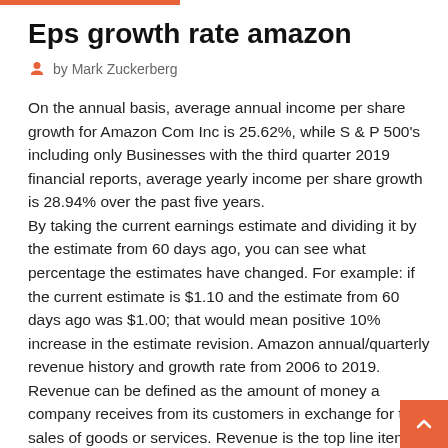Eps growth rate amazon
by Mark Zuckerberg
On the annual basis, average annual income per share growth for Amazon Com Inc is 25.62%, while S & P 500's including only Businesses with the third quarter 2019 financial reports, average yearly income per share growth is 28.94% over the past five years.
By taking the current earnings estimate and dividing it by the estimate from 60 days ago, you can see what percentage the estimates have changed. For example: if the current estimate is $1.10 and the estimate from 60 days ago was $1.00; that would mean positive 10% increase in the estimate revision. Amazon annual/quarterly revenue history and growth rate from 2006 to 2019. Revenue can be defined as the amount of money a company receives from its customers in exchange for the sales of goods or services. Revenue is the top line item on an income statement from which all costs and expenses are subtracted to